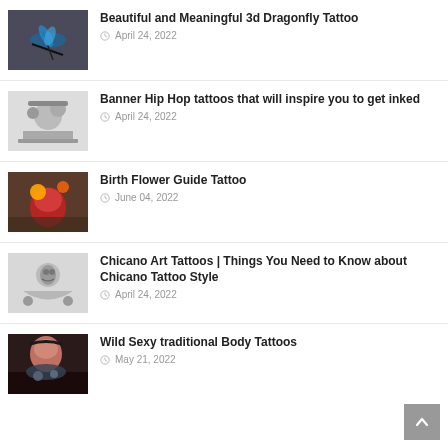Beautiful and Meaningful 3d Dragonfly Tattoo
Banner Hip Hop tattoos that will inspire you to get inked
Birth Flower Guide Tattoo
Chicano Art Tattoos | Things You Need to Know about Chicano Tattoo Style
Wild Sexy traditional Body Tattoos